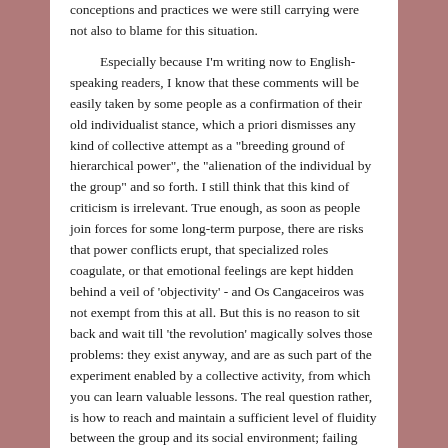conceptions and practices we were still carrying were not also to blame for this situation.

Especially because I'm writing now to English-speaking readers, I know that these comments will be easily taken by some people as a confirmation of their old individualist stance, which a priori dismisses any kind of collective attempt as a "breeding ground of hierarchical power", the "alienation of the individual by the group" and so forth. I still think that this kind of criticism is irrelevant. True enough, as soon as people join forces for some long-term purpose, there are risks that power conflicts erupt, that specialized roles coagulate, or that emotional feelings are kept hidden behind a veil of 'objectivity' - and Os Cangaceiros was not exempt from this at all. But this is no reason to sit back and wait till 'the revolution' magically solves those problems: they exist anyway, and are as such part of the experiment enabled by a collective activity, from which you can learn valuable lessons. The real question rather, is how to reach and maintain a sufficient level of fluidity between the group and its social environment; failing this, the group tends to follow a separate logic, and to become its own end - a sort of autism, which in turn exacerbates 'inter-personal' conflicts.

Throughout all those years we had been obsessed with the